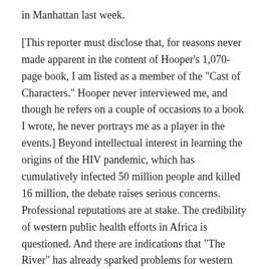in Manhattan last week.
[This reporter must disclose that, for reasons never made apparent in the content of Hooper's 1,070-page book, I am listed as a member of the "Cast of Characters." Hooper never interviewed me, and though he refers on a couple of occasions to a book I wrote, he never portrays me as a player in the events.] Beyond intellectual interest in learning the origins of the HIV pandemic, which has cumulatively infected 50 million people and killed 16 million, the debate raises serious concerns. Professional reputations are at stake. The credibility of western public health efforts in Africa is questioned. And there are indications that "The River" has already sparked problems for western AIDS vaccine researchers in Africa.